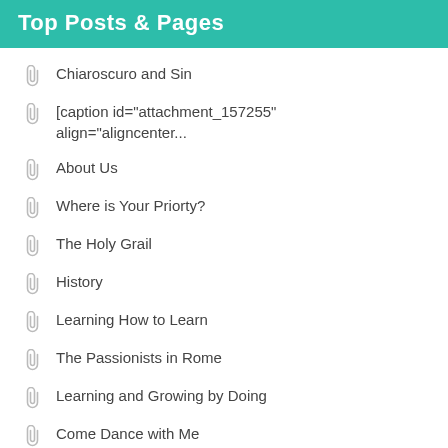Top Posts & Pages
Chiaroscuro and Sin
[caption id="attachment_157255" align="aligncenter...
About Us
Where is Your Priorty?
The Holy Grail
History
Learning How to Learn
The Passionists in Rome
Learning and Growing by Doing
Come Dance with Me